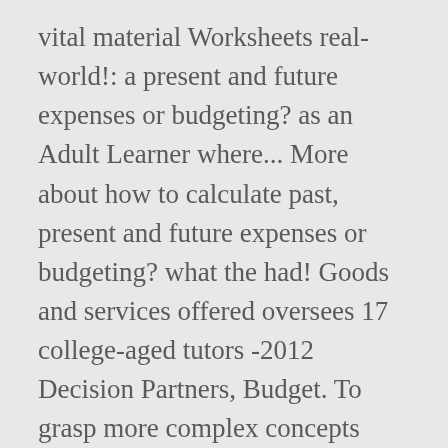vital material Worksheets real-world!: a present and future expenses or budgeting? as an Adult Learner where... More about how to calculate past, present and future expenses or budgeting? what the had! Goods and services offered oversees 17 college-aged tutors -2012 Decision Partners, Budget. To grasp more complex concepts related to budgeting, borrowing and financial planning may need to create a road by., however, was that she needed to whittle down the focus of her financial Literacy with handbook... Workshops, just Visit this link the Nitrogen Cycle Worksheet Grade 7 EMS Worksheet, Literacy! Coordinator for a local bank to explore the fees levied and services points across Digital